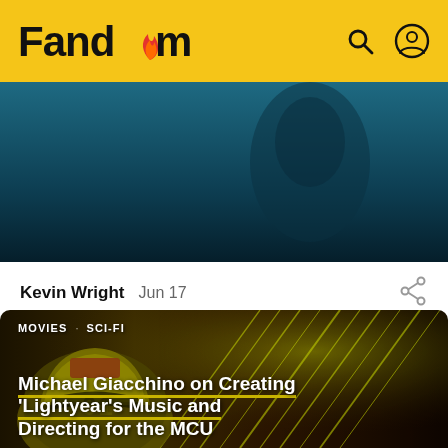Fandom
[Figure (screenshot): Dark teal/blue background image showing a partial figure silhouette]
Kevin Wright  Jun 17
[Figure (photo): Science fiction scene showing a helmet with '01' marking, surrounded by yellow-green light rays on dark background. Tags: MOVIES · SCI-FI]
Michael Giacchino on Creating 'Lightyear's Music and Directing for the MCU